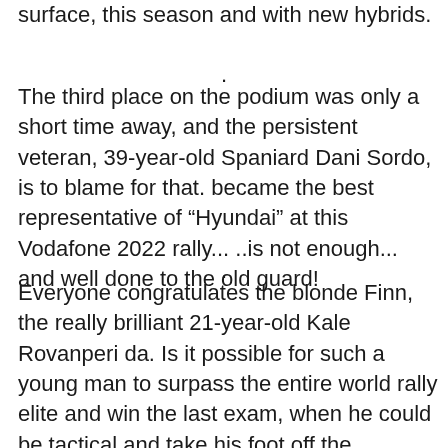surface, this season and with new hybrids.
.
The third place on the podium was only a short time away, and the persistent veteran, 39-year-old Spaniard Dani Sordo, is to blame for that. became the best representative of “Hyundai” at this Vodafone 2022 rally... ..is not enough... and well done to the old guard!
.
Everyone congratulates the blonde Finn, the really brilliant 21-year-old Kale Rovanperi da. Is it possible for such a young man to surpass the entire world rally elite and win the last exam, when he could be tactical and take his foot off the accelerator.